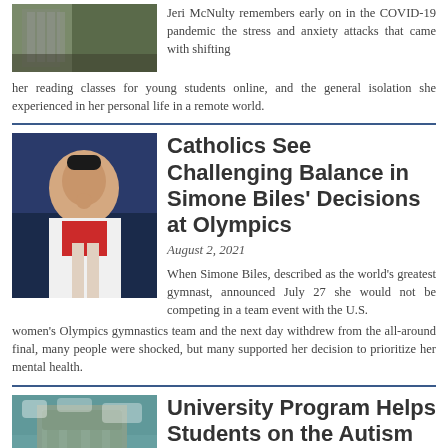[Figure (photo): Partial top photo, appears to show a fence or railing with foliage]
Jeri McNulty remembers early on in the COVID-19 pandemic the stress and anxiety attacks that came with shifting her reading classes for young students online, and the general isolation she experienced in her personal life in a remote world.
[Figure (photo): Simone Biles in white gymnastics uniform, covering her face with her hand]
Catholics See Challenging Balance in Simone Biles' Decisions at Olympics
August 2, 2021
When Simone Biles, described as the world's greatest gymnast, announced July 27 she would not be competing in a team event with the U.S. women's Olympics gymnastics team and the next day withdrew from the all-around final, many people were shocked, but many supported her decision to prioritize her mental health.
[Figure (photo): University building with Gothic architecture covered in ivy against a blue sky]
University Program Helps Students on the Autism Spectrum Navigate College